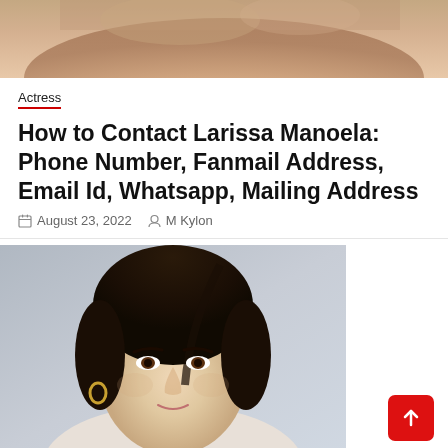[Figure (photo): Top cropped photo of a woman with brown hair, partially visible face showing lips and nose]
Actress
How to Contact Larissa Manoela: Phone Number, Fanmail Address, Email Id, Whatsapp, Mailing Address
August 23, 2022   M Kylon
[Figure (photo): Portrait photo of a young woman with dark hair pulled back, wearing gold hoop earrings, looking slightly upward against a grey background]